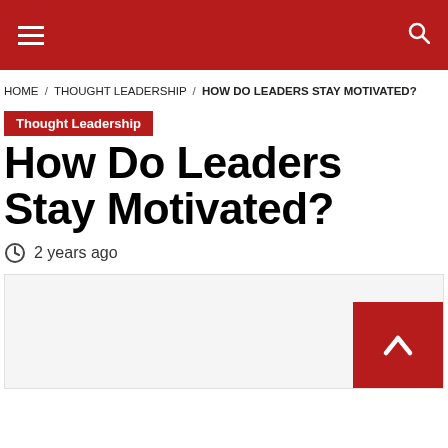Navigation menu and search icon on dark red header bar
HOME / THOUGHT LEADERSHIP / HOW DO LEADERS STAY MOTIVATED?
Thought Leadership
How Do Leaders Stay Motivated?
2 years ago
[Figure (photo): Article featured image placeholder, light grey background]